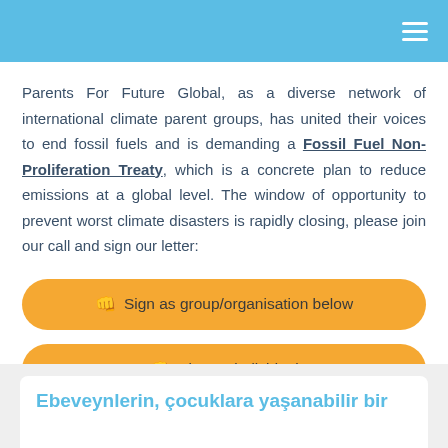Parents For Future Global, as a diverse network of international climate parent groups, has united their voices to end fossil fuels and is demanding a Fossil Fuel Non-Proliferation Treaty, which is a concrete plan to reduce emissions at a global level. The window of opportunity to prevent worst climate disasters is rapidly closing, please join our call and sign our letter:
✊ Sign as group/organisation below
✊ Sign as individual
Ebeveynlerin, çocuklara yaşanabilir bir